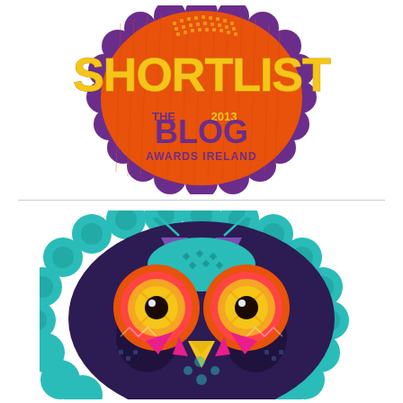[Figure (illustration): Blog Awards Ireland 2013 Shortlist badge - an ornate orange and purple scalloped circular badge with the word SHORTLIST in large yellow text, and 'THE 2013 BLOG AWARDS IRELAND' in purple/yellow text below]
[Figure (illustration): Blog Awards Ireland owl mascot logo - a colorful decorative owl face with large circular eyes (orange, red, yellow rings with black pupils), purple and teal feathered body, orange spiky feather details, pink triangular facial features, and yellow beak, set against a teal scalloped circular background]